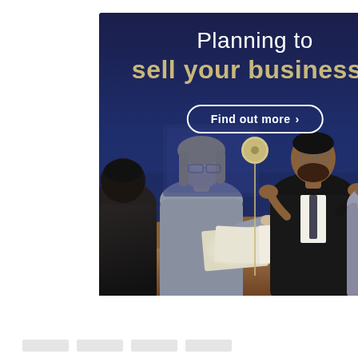[Figure (photo): Advertisement banner with dark navy blue background showing business professionals in a meeting around a table. Text overlay reads 'Planning to sell your business?' with a 'Find out more >' call-to-action button. A decorative location pin graphic with a vertical line is centered in the image. Four people are visible: a person with back turned on the left, a blonde woman in a grey top, a bearded man in a suit gesturing with hands, and a woman with natural hair on the right. Documents are spread on a wooden table.]